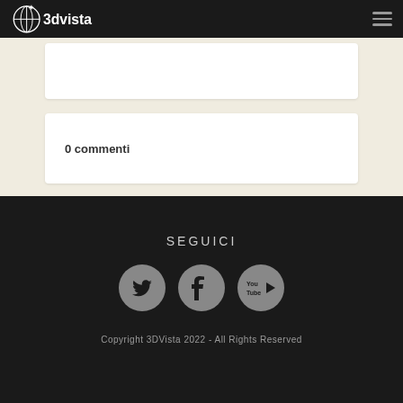3dvista — navigation header with logo and hamburger menu
0 commenti
SEGUICI
[Figure (illustration): Three circular social media icons: Twitter (bird icon), Facebook (f icon), YouTube (play button with 'You Tube' text)]
Copyright 3DVista 2022 - All Rights Reserved